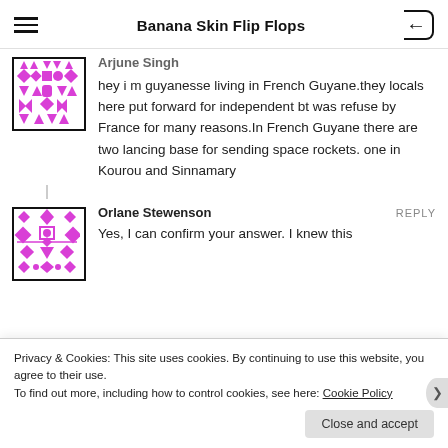Banana Skin Flip Flops
Arjune Singh
hey i m guyanesse living in French Guyane.they locals here put forward for independent bt was refuse by France for many reasons.In French Guyane there are two lancing base for sending space rockets. one in Kourou and Sinnamary
Orlane Stewenson
Yes, I can confirm your answer. I knew this
Privacy & Cookies: This site uses cookies. By continuing to use this website, you agree to their use.
To find out more, including how to control cookies, see here: Cookie Policy
Close and accept